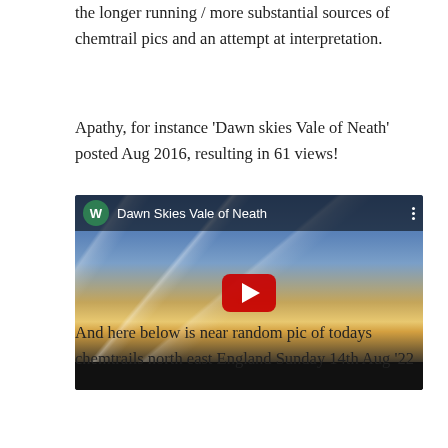the longer running / more substantial sources of chemtrail pics and an attempt at interpretation.
Apathy, for instance ‘Dawn skies Vale of Neath’ posted Aug 2016, resulting in 61 views!
[Figure (screenshot): YouTube video thumbnail showing 'Dawn Skies Vale of Neath' with a sky full of chemtrails and a sunset, with a YouTube play button overlay. Top bar shows channel avatar 'W' in green circle and video title.]
And here below is near random pic of todays chemtrails north east England Sunday 14th Aug ’22